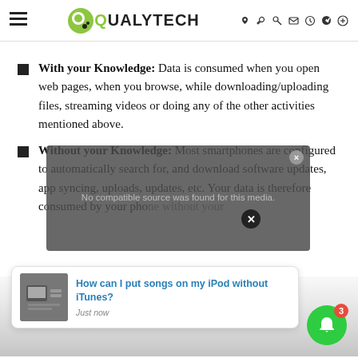QUALYTECH
With your Knowledge: Data is consumed when you open web pages, when you browse, while downloading/uploading files, streaming videos or doing any of the other activities mentioned above.
Without your Knowledge: Most smartphones are configured to automatically search for, and download software updates, app syncing, uploads, updates, etc. Your data is therefore consumed by your phone without your
[Figure (screenshot): Video player overlay showing 'No compatible source was found for this media.' with a close button, overlaid on a webpage. A notification popup at the bottom shows 'How can I put songs on my iPod without iTunes? Just now'. A green bell notification button with badge '3' is at the bottom right.]